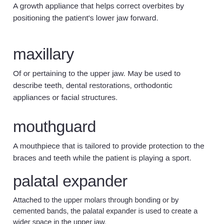A growth appliance that helps correct overbites by positioning the patient's lower jaw forward.
maxillary
Of or pertaining to the upper jaw. May be used to describe teeth, dental restorations, orthodontic appliances or facial structures.
mouthguard
A mouthpiece that is tailored to provide protection to the braces and teeth while the patient is playing a sport.
palatal expander
Attached to the upper molars through bonding or by cemented bands, the palatal expander is used to create a wider space in the upper jaw.
radiograph